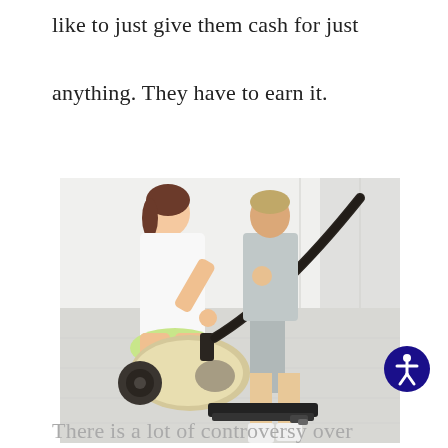like to just give them cash for just anything. They have to earn it.
[Figure (photo): Two children using a vacuum cleaner on a light wood floor. One child (girl in white dress) is crouching next to the canister vacuum body, while another child (in gray shorts and white socks) is standing and holding the upright handle/wand.]
There is a lot of controversy over